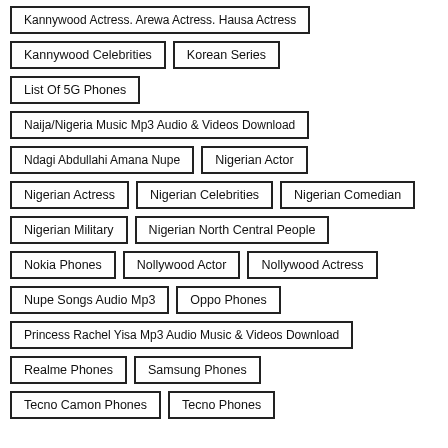Kannywood Actress. Arewa Actress. Hausa Actress
Kannywood Celebrities
Korean Series
List Of 5G Phones
Naija/Nigeria Music Mp3 Audio & Videos Download
Ndagi Abdullahi Amana Nupe
Nigerian Actor
Nigerian Actress
Nigerian Celebrities
Nigerian Comedian
Nigerian Military
Nigerian North Central People
Nokia Phones
Nollywood Actor
Nollywood Actress
Nupe Songs Audio Mp3
Oppo Phones
Princess Rachel Yisa Mp3 Audio Music & Videos Download
Realme Phones
Samsung Phones
Tecno Camon Phones
Tecno Phones